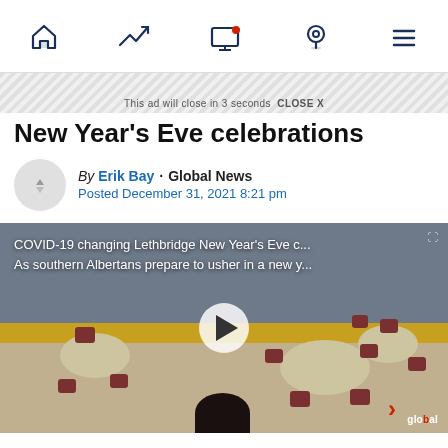Navigation bar with home, trending, screen, location, and menu icons
This ad will close in 3 seconds  CLOSE X
New Year's Eve celebrations
By Erik Bay · Global News
Posted December 31, 2021 8:21 pm
[Figure (screenshot): Video thumbnail showing an empty banquet hall with round tables and chairs. Overlay text reads: COVID-19 changing Lethbridge New Year's Eve c... / As southern Albertans prepare to usher in a new y... A play button is centered on the image. Global News logo appears in bottom right.]